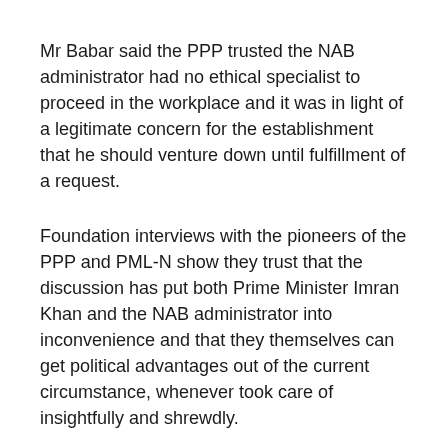Mr Babar said the PPP trusted the NAB administrator had no ethical specialist to proceed in the workplace and it was in light of a legitimate concern for the establishment that he should venture down until fulfillment of a request.
Foundation interviews with the pioneers of the PPP and PML-N show they trust that the discussion has put both Prime Minister Imran Khan and the NAB administrator into inconvenience and that they themselves can get political advantages out of the current circumstance, whenever took care of insightfully and shrewdly.
“The weight is presently on the legislature and Prime Minister Imran Khan which is obvious from the announcements of the administration pastors and the decision party who have now begun to protect the NAB administrator and pointing fingers at the restriction over the sound video scene,” said a senior